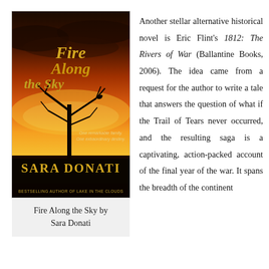[Figure (illustration): Book cover of 'Fire Along the Sky' by Sara Donati. Shows a dramatic orange and red sunset sky with a silhouetted bare tree and a bird perched on it. Text on cover reads: 'Fire Along the Sky', 'One remarkable family. One extraordinary destiny.', 'Sara Donati', 'Bestselling Author of Lake in the Clouds'.]
Fire Along the Sky by Sara Donati
Another stellar alternative historical novel is Eric Flint's 1812: The Rivers of War (Ballantine Books, 2006). The idea came from a request for the author to write a tale that answers the question of what if the Trail of Tears never occurred, and the resulting saga is a captivating, action-packed account of the final year of the war. It spans the breadth of the continent